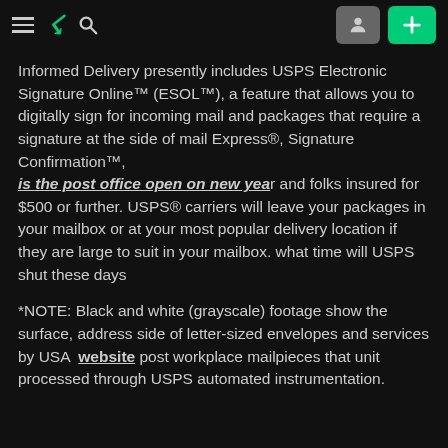≡ ⚡ 🔍 [user icon] [+ button]
Informed Delivery presently includes USPS Electronic Signature Online™ (ESOL™), a feature that allows you to digitally sign for incoming mail and packages that require a signature at the side of mail Express®, Signature Confirmation™, is the post office open on new year and folks insured for $500 or further. USPS® carriers will leave your packages in your mailbox or at your most popular delivery location if they are large to suit in your mailbox. what time will USPS shut these days
*NOTE: Black and white (grayscale) footage show the surface, address side of letter-sized envelopes and services by USA  website post workplace mailpieces that unit processed through USPS automated instrumentation.